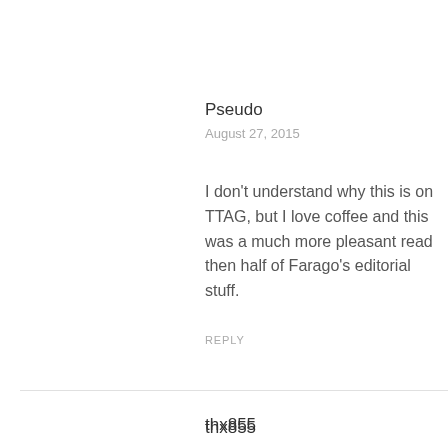Pseudo
August 27, 2015
I don’t understand why this is on TTAG, but I love coffee and this was a much more pleasant read then half of Farago’s editorial stuff.
REPLY
thx855
August 27, 2015
Aw geez people, its coffee! Drink it black, drink it strong and keep all of the over